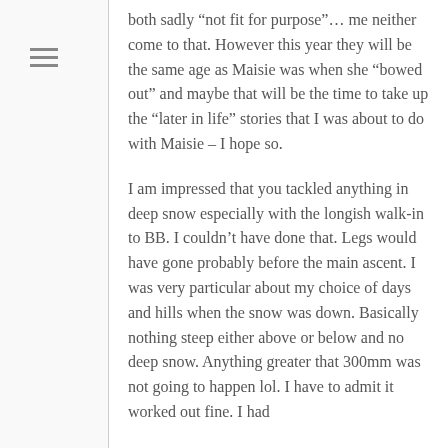both sadly “not fit for purpose”… me neither come to that. However this year they will be the same age as Maisie was when she “bowed out” and maybe that will be the time to take up the “later in life” stories that I was about to do with Maisie – I hope so.
I am impressed that you tackled anything in deep snow especially with the longish walk-in to BB. I couldn’t have done that. Legs would have gone probably before the main ascent. I was very particular about my choice of days and hills when the snow was down. Basically nothing steep either above or below and no deep snow. Anything greater that 300mm was not going to happen lol. I have to admit it worked out fine. I had